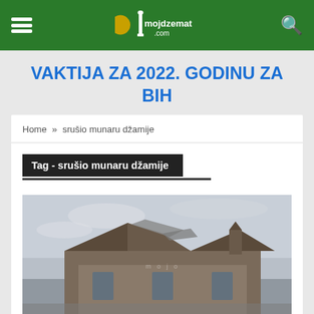mojdzemat.com
VAKTIJA ZA 2022. GODINU ZA BiH
Home » srušio munaru džamije
Tag - srušio munaru džamije
[Figure (photo): Photo of a mosque building with damaged or collapsed minaret; overcast sky visible in background]